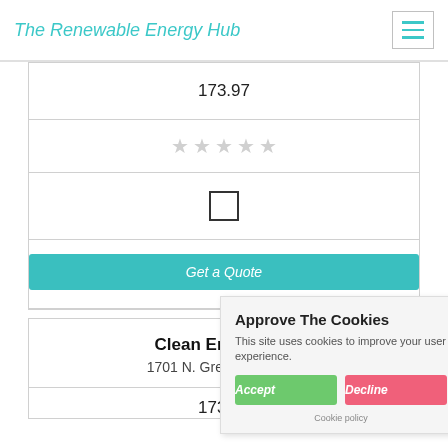The Renewable Energy Hub
| 173.97 |
| ☆☆☆☆☆ |
| □ |
| Get a Quote |
Clean Energy S...
1701 N. Greenville Ave...
173.97
Approve The Cookies
This site uses cookies to improve your user experience.
Accept | Decline
Cookie policy